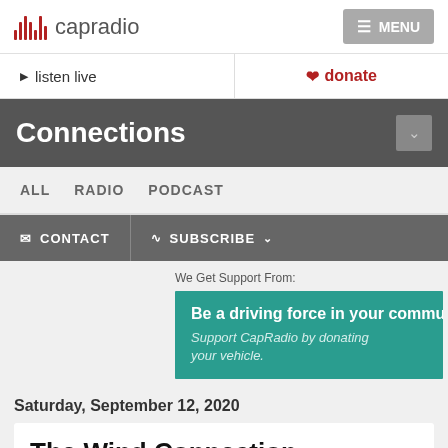capradio
listen live   donate
Connections
ALL   RADIO   PODCAST
CONTACT   SUBSCRIBE
We Get Support From:
[Figure (other): Teal advertisement banner: 'Be a driving force in your community. Support CapRadio by donating your vehicle.']
Saturday, September 12, 2020
The Wind Connection